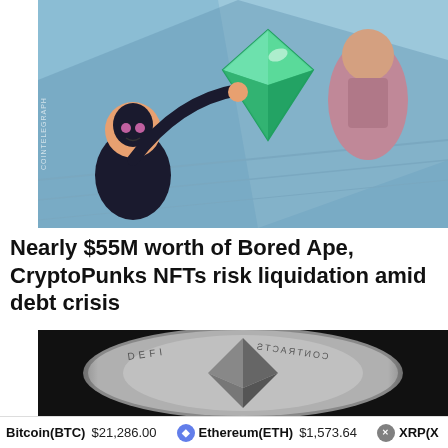[Figure (illustration): Animated illustration showing characters with a large green Ethereum diamond gem, styled as cartoon/anime art. Cointelegraph watermark visible on left side.]
Nearly $55M worth of Bored Ape, CryptoPunks NFTs risk liquidation amid debt crisis
[Figure (photo): Close-up photo of a silver Ethereum coin with the ETH logo (diamond shape) visible, dark background.]
Bitcoin(BTC) $21,286.00   Ethereum(ETH) $1,573.64   XRP(X...